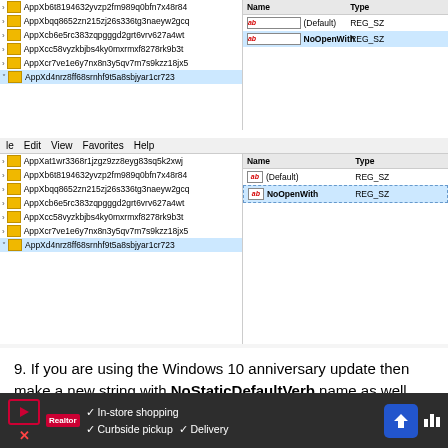[Figure (screenshot): Windows Registry Editor screenshot (top portion) showing registry tree with AppX entries and right panel with Name/Type columns showing (Default) REG_SZ and NoOpenWith REG_SZ highlighted]
[Figure (screenshot): Windows Registry Editor screenshot showing menu bar with File Edit View Favorites Help, registry tree with AppX entries, and right panel with Name/Type columns showing (Default) REG_SZ and NoOpenWith REG_SZ highlighted]
9. If you are using the Windows 10 anniversary update then make a new string with NoStaticDefaultVerb name as well. Follow the steps 7-8.
Once you are done, Microsoft Edge won't override the default apps anymore. However, after updating your Windows, you might need to redo these steps as Microsoft Edge resets these defaults.
[Figure (other): Advertisement banner with play button, red X, brand logo, In-store shopping / Curbside pickup / Delivery checkmarks, navigation arrow icon, and audio bars]